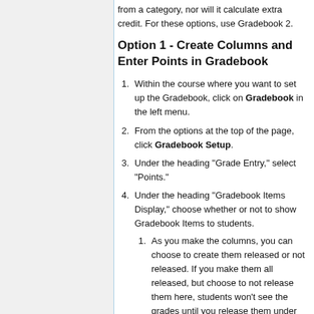from a category, nor will it calculate extra credit. For these options, use Gradebook 2.
Option 1 - Create Columns and Enter Points in Gradebook
Within the course where you want to set up the Gradebook, click on Gradebook in the left menu.
From the options at the top of the page, click Gradebook Setup.
Under the heading "Grade Entry," select "Points."
Under the heading "Gradebook Items Display," choose whether or not to show Gradebook Items to students.
As you make the columns, you can choose to create them released or not released. If you make them all released, but choose to not release them here, students won't see the grades until you release them under Gradebook Setup.